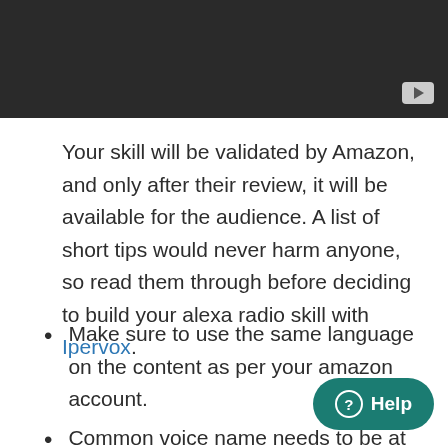[Figure (screenshot): Dark video player placeholder with a YouTube-style play button in the bottom-right corner]
Your skill will be validated by Amazon, and only after their review, it will be available for the audience. A list of short tips would never harm anyone, so read them through before deciding to build your alexa radio skill with Ipervox.
Make sure to use the same language on the content as per your amazon account.
Common voice name needs to be at least two words. Skill names are getting crowded on a daily basis, that is why it deserves thinking before proceeding. Ipervox will help